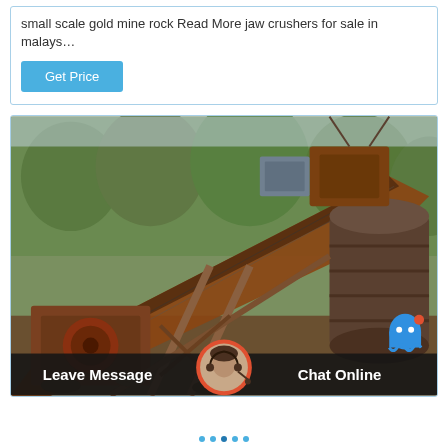small scale gold mine rock Read More jaw crushers for sale in malays…
Get Price
[Figure (photo): Photo of a rusted industrial rock crushing / mining conveyor and jaw crusher machine setup outdoors among trees]
Leave Message
Chat Online